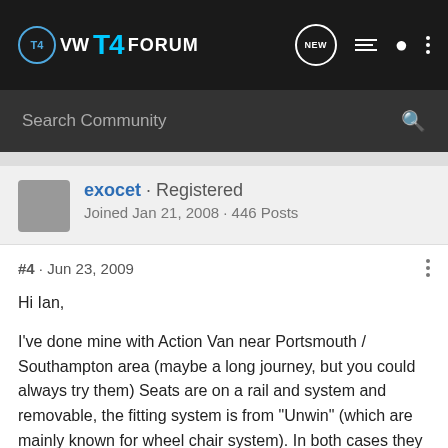VW T4 FORUM
Search Community
exocet · Registered
Joined Jan 21, 2008 · 446 Posts
#4 · Jun 23, 2009
Hi Ian,

I've done mine with Action Van near Portsmouth / Southampton area (maybe a long journey, but you could always try them) Seats are on a rail and system and removable, the fitting system is from "Unwin" (which are mainly known for wheel chair system). In both cases they are serious people, Unwin may have agent or fitter closer to you, you never know.
Hope it help good luck.